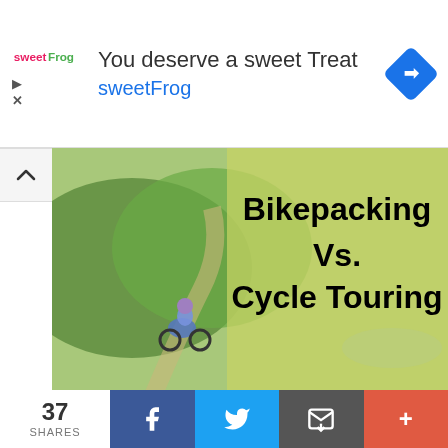[Figure (infographic): Advertisement banner for sweetFrog frozen yogurt. Shows sweetFrog logo, text 'You deserve a sweet Treat' and 'sweetFrog', with a blue diamond navigation icon on the right.]
[Figure (photo): Hero image showing a cyclist (woman in blue top and purple helmet) riding on a mountain trail with green hills. Overlaid text reads 'Bikepacking Vs. Cycle Touring' in bold black on a semi-transparent yellow-green background.]
Since moving to Bristol, Michael and I have started to break into the bikepacking world, completing a few bikepacking trips in Scotland, Wales and England. We definitely hope to do a few more in future – though COVID has put a little delay on this for now.
[Figure (infographic): Share bar at the bottom showing 37 SHARES count, Facebook share button (dark blue), Twitter share button (light blue), Email share button (grey), and More button (red/orange).]